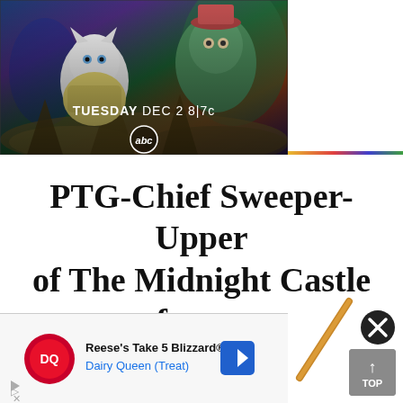[Figure (illustration): ABC TV promotional banner showing animated fantasy characters including a white cat and other creatures, with text 'TUESDAY DEC 2 8|7c' and the ABC network logo]
PTG-Chief Sweeper-Upper of The Midnight Castle forum
[Figure (illustration): A diagonal broom or wand in golden/brown color]
[Figure (screenshot): Advertisement banner for Reese's Take 5 Blizzard from Dairy Queen, showing DQ logo, ad title, blue navigation arrow icon, and a close (X) button and TOP navigation button]